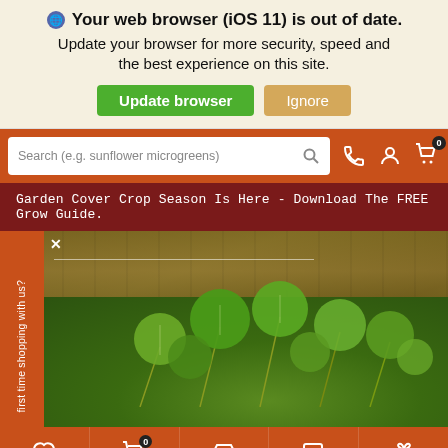🌐 Your web browser (iOS 11) is out of date. Update your browser for more security, speed and the best experience on this site.
Update browser | Ignore
[Figure (screenshot): Search bar with orange background, search input field placeholder 'Search (e.g. sunflower microgreens)', phone icon, user icon, and cart icon with 0 badge]
Garden Cover Crop Season Is Here - Download The FREE Grow Guide.
[Figure (photo): Hero image of green nasturtium microgreens with round leaves on wooden background, with orange sidebar tab and close X button]
first time shopping with us?
[Figure (screenshot): Bottom navigation bar with My Catalog, Cart (0), Shop, Chat, Rewards icons on orange background]